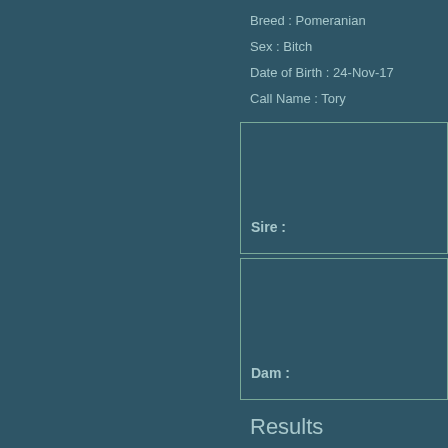Breed : Pomeranian
Sex : Bitch
Date of Birth : 24-Nov-17
Call Name : Tory
Sire :
Dam :
Results
8-Sep-18   in Group